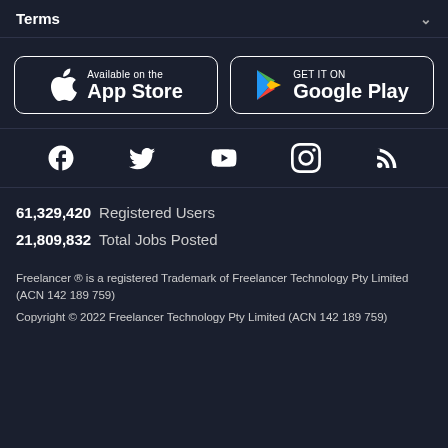Terms
[Figure (screenshot): App Store and Google Play download buttons side by side on dark background]
[Figure (infographic): Social media icons: Facebook, Twitter, YouTube, Instagram, RSS]
61,329,420  Registered Users
21,809,832  Total Jobs Posted
Freelancer ® is a registered Trademark of Freelancer Technology Pty Limited (ACN 142 189 759)
Copyright © 2022 Freelancer Technology Pty Limited (ACN 142 189 759)